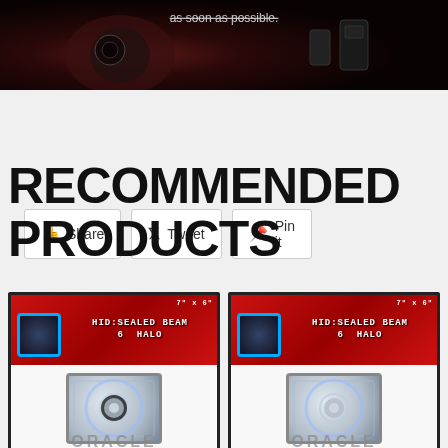[Figure (photo): Dark photo showing car headlamps and electronic devices on a dark red/black background, partially cropped at top]
Share
Tweet
Pin it
RECOMMENDED PRODUCTS
[Figure (photo): Oracle sealed beam halo headlamp product - 7x6 inch, showing red product box and chrome headlamp with blue halo ring]
[Figure (photo): Oracle sealed beam halo headlamp product - 7x6 inch, showing red product box and chrome headlamp with blue halo ring (duplicate/second unit)]